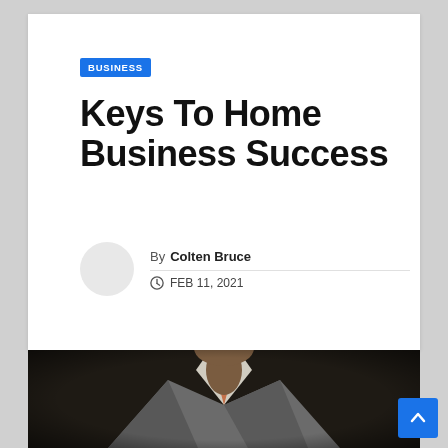BUSINESS
Keys To Home Business Success
By Colten Bruce
FEB 11, 2021
[Figure (photo): A man in a suit adjusting his tie, photo cropped at chest level, dark background]